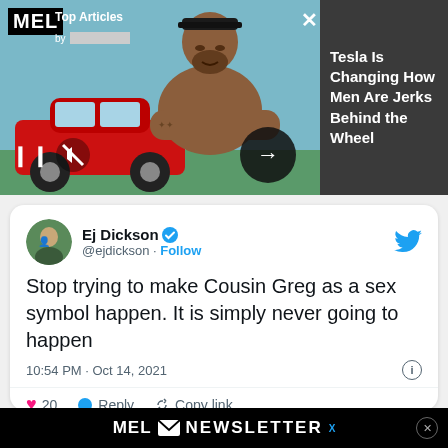[Figure (screenshot): MEL magazine top articles ad banner featuring a red Tesla car and a shirtless muscular man with crossed arms, with header overlay showing MEL logo, Top Articles label, navigation controls (pause, mute, arrow), and a close X button.]
Tesla Is Changing How Men Are Jerks Behind the Wheel
[Figure (screenshot): Tweet by Ej Dickson (@ejdickson) with verified badge and Follow button. Tweet text: Stop trying to make Cousin Greg as a sex symbol happen. It is simply never going to happen. Timestamp: 10:54 PM · Oct 14, 2021. Engagement: 20 likes, Reply and Copy link options.]
MEL NEWSLETTER